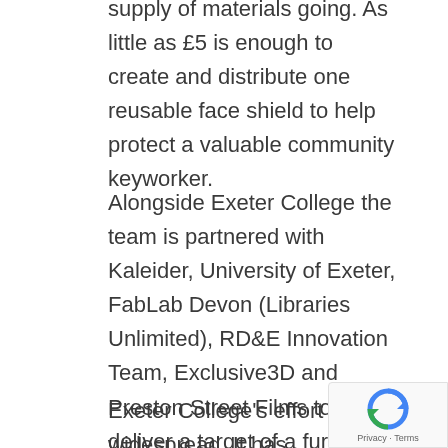currently Crowdfunding to keep the vital supply of materials going. As little as £5 is enough to create and distribute one reusable face shield to help protect a valuable community keyworker.
Alongside Exeter College the team is partnered with Kaleider, University of Exeter, FabLab Devon (Libraries Unlimited), RD&E Innovation Team, Exclusive3D and Preston Street Films to help deliver a target of a further 5000 face shields to the local community in the next 4 weeks.
Exeter College's effort is widespread. It has already supported the distribution of RD&E...